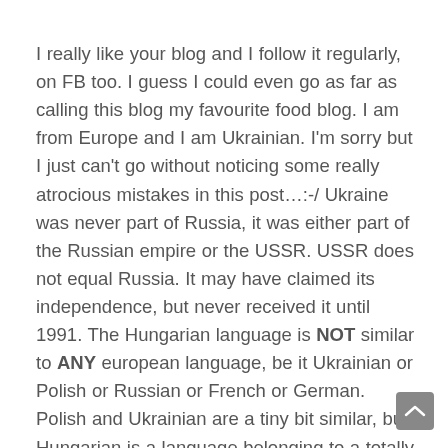I really like your blog and I follow it regularly, on FB too. I guess I could even go as far as calling this blog my favourite food blog. I am from Europe and I am Ukrainian. I'm sorry but I just can't go without noticing some really atrocious mistakes in this post…:-/ Ukraine was never part of Russia, it was either part of the Russian empire or the USSR. USSR does not equal Russia. It may have claimed its independence, but never received it until 1991. The Hungarian language is NOT similar to ANY european language, be it Ukrainian or Polish or Russian or French or German. Polish and Ukrainian are a tiny bit similar, but Hungarian is a language belonging to a totally different language group (Indo-european) and cannot be compared to any common European language. And even more, Ukraine DOES have big mountains – the Carpathian mountains, bordering with Slovakia and Romania! They are the biggest mountain range in Europe after after the